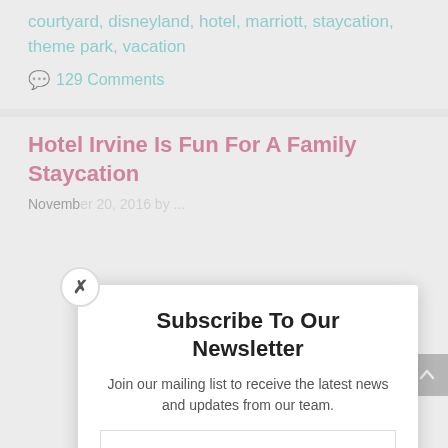courtyard, disneyland, hotel, marriott, staycation, theme park, vacation
💬 129 Comments
Hotel Irvine Is Fun For A Family Staycation
November 20, 2016 by ...
[Figure (photo): Photo of Hotel Irvine building exterior]
Subscribe To Our Newsletter
Join our mailing list to receive the latest news and updates from our team.
Email
SUBSCRIBE!